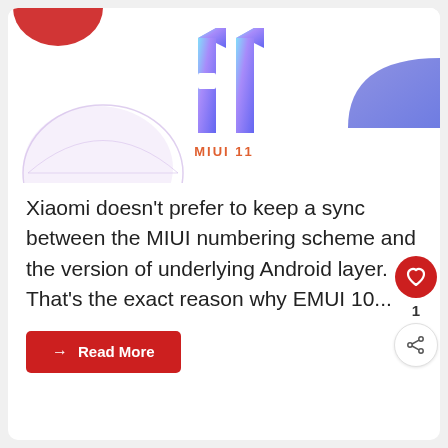[Figure (illustration): MIUI 11 logo with gradient purple/blue numerals '11' and decorative geometric shapes (semicircles, dots) in purple and red on white background, with 'MIUI 11' text label below in orange/coral color]
Xiaomi doesn't prefer to keep a sync between the MIUI numbering scheme and the version of underlying Android layer. That's the exact reason why EMUI 10...
→ Read More